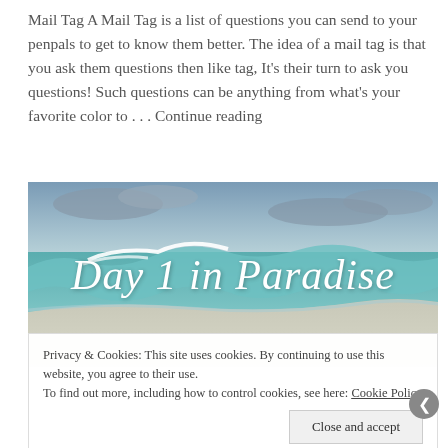Mail Tag A Mail Tag is a list of questions you can send to your penpals to get to know them better. The idea of a mail tag is that you ask them questions then like tag, It's their turn to ask you questions! Such questions can be anything from what's your favorite color to . . . Continue reading
[Figure (photo): Beach scene with waves, teal water, cloudy sky, white sand, with 'Day 1 in Paradise' in cursive white text overlaid]
Privacy & Cookies: This site uses cookies. By continuing to use this website, you agree to their use.
To find out more, including how to control cookies, see here: Cookie Policy

Close and accept